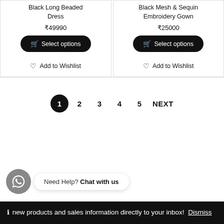Black Long Beaded Dress
₹49990
Select options
Add to Wishlist
Black Mesh & Sequin Embroidery Gown
₹25000
Select options
Add to Wishlist
1
2
3
4
5
NEXT
Need Help? Chat with us — new products and sales information directly to your inbox! Dismiss